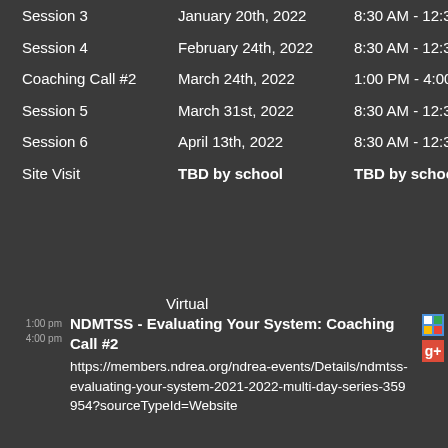|  | Date | Time |
| --- | --- | --- |
| Session 3 | January 20th, 2022 | 8:30 AM - 12:30 PM |
| Session 4 | February 24th, 2022 | 8:30 AM - 12:30 PM |
| Coaching Call #2 | March 24th, 2022 | 1:00 PM - 4:00 PM |
| Session 5 | March 31st, 2022 | 8:30 AM - 12:30 PM |
| Session 6 | April 13th, 2022 | 8:30 AM - 12:30 PM |
| Site Visit | TBD by school | TBD by school |
Virtual
1:00 pm
4:00 pm
NDMTSS - Evaluating Your System: Coaching Call #2
https://members.ndrea.org/ndrea-events/Details/ndmtss-evaluating-your-system-2021-2022-multi-day-series-359954?sourceTypeId=Website